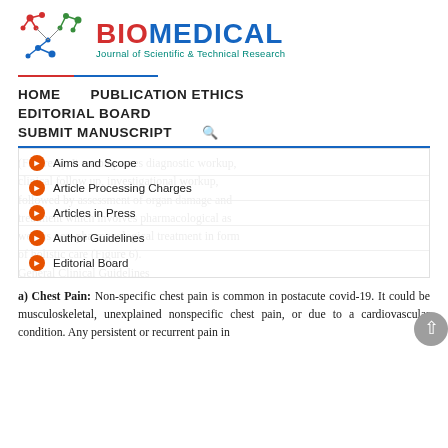[Figure (logo): Biomedical Journal of Scientific & Technical Research logo with molecular network graphic in red, green, and blue, and journal name in red/blue bold text with teal subtitle]
HOME    PUBLICATION ETHICS    EDITORIAL BOARD    SUBMIT MANUSCRIPT
(Figure 6). It encompasses diagnostic workup, clinical follow up, investigational workup, followed by assessment of organ damage and treatment which involves pharmacological as well as non-pharmacological treatment in form of holistic care (Figure 6).
Aims and Scope
Article Processing Charges
Articles in Press
Author Guidelines
Editorial Board
General Clinical Guidelines
a) Chest Pain: Non-specific chest pain is common in postacute covid-19. It could be musculoskeletal, unexplained nonspecific chest pain, or due to a cardiovascular condition. Any persistent or recurrent pain in